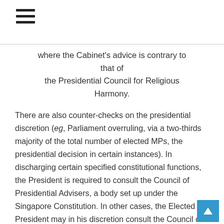where the Cabinet's advice is contrary to that of the Presidential Council for Religious Harmony.
There are also counter-checks on the presidential discretion (eg, Parliament overruling, via a two-thirds majority of the total number of elected MPs, the presidential decision in certain instances). In discharging certain specified constitutional functions, the President is required to consult the Council of Presidential Advisers, a body set up under the Singapore Constitution. In other cases, the Elected President may in his discretion consult the Council of Presidential Advisers.
B. The Cabinet
1.6.3    The Cabinet, under the helm of the Prime Minister, is